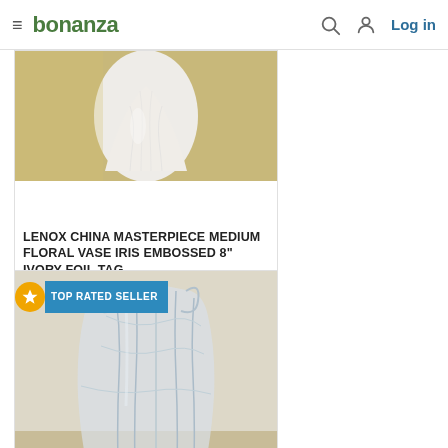bonanza — Log in
[Figure (photo): Partial product image of a Lenox China ivory floral vase on a textured background, cropped at top]
LENOX CHINA MASTERPIECE MEDIUM FLORAL VASE IRIS EMBOSSED 8" IVORY FOIL TAG
$12.82
[Figure (photo): Crystal glass vase with decorative etched floral/leaf pattern, clear glass, on beige background, with TOP RATED SELLER badge overlay]